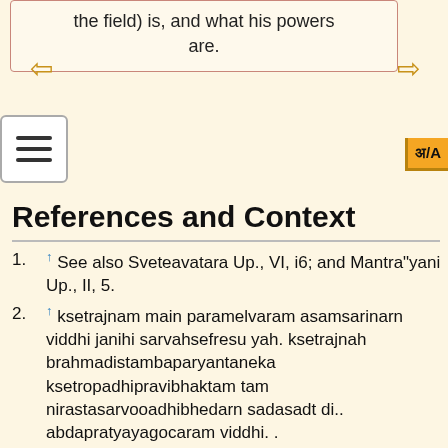the field) is, and what his powers are.
References and Context
↑ See also Sveteavatara Up., VI, i6; and Mantra"yani Up., II, 5.
↑ ksetrajnam main paramelvaram asamsarinarn viddhi janihi sarvahsefresu yah. ksetrajnah brahmadistambaparyantaneka ksetropadhipravibhaktam tam nirastasarvooadhibhedarn sadasadt di.. abdapratyayagocaram viddhi. .
↑ tatraivam sati ksetrajnasyeivarasyaiva sato'vidyakrtopadhibhedatah samsdritvam iva bhavati yatha